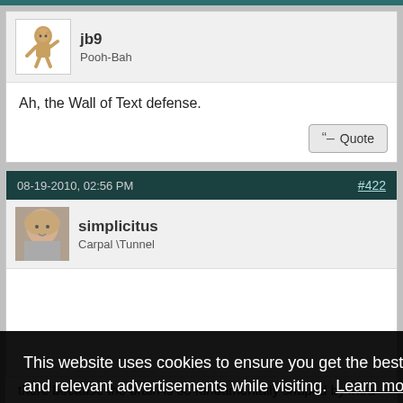jb9
Pooh-Bah
Ah, the Wall of Text defense.
Quote
08-19-2010, 02:56 PM
#422
simplicitus
Carpal \Tunnel
This website uses cookies to ensure you get the best experience and relevant advertisements while visiting. Learn more
Got it!
there because the brain is so fundamentally shaped by intra-